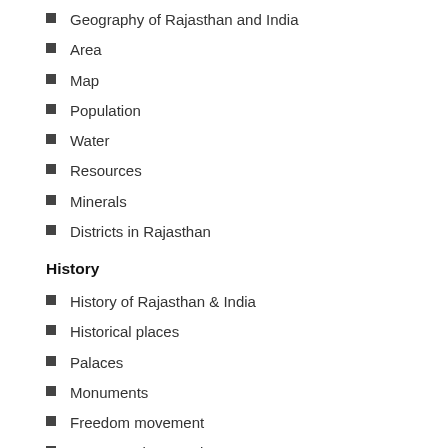Geography of Rajasthan and India
Area
Map
Population
Water
Resources
Minerals
Districts in Rajasthan
History
History of Rajasthan & India
Historical places
Palaces
Monuments
Freedom movement
Important dates and years
Culture & Art